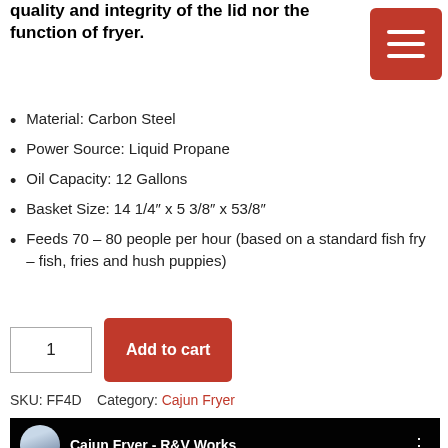quality and integrity of the lid nor the function of fryer.
Material: Carbon Steel
Power Source: Liquid Propane
Oil Capacity: 12 Gallons
Basket Size: 14 1/4″ x 5 3/8″ x 53/8″
Feeds 70 – 80 people per hour (based on a standard fish fry – fish, fries and hush puppies)
SKU: FF4D    Category: Cajun Fryer
[Figure (screenshot): YouTube video thumbnail showing 'Cajun Fryer - R&V Works' channel with text BURNER FLUE visible on dark background]